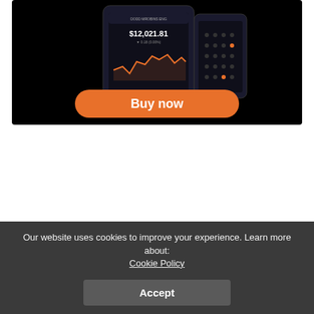[Figure (screenshot): Dark-background ad banner showing a crypto trading app on mobile devices displaying $12,021.81 with a line chart, and a large orange 'Buy now' button]
[Figure (logo): CoinJot logo: orange and dark navy coin icon on the left, bold dark navy 'CoinJot' text on the right]
Our website uses cookies to improve your experience. Learn more about: Cookie Policy
Accept